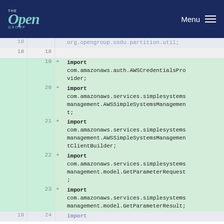THE Open GROUP  Menu
Code diff showing import statements added (lines 19-23+): import com.amazonaws.auth.AWSCredentialsProvider; import com.amazonaws.services.simplesystemsmanagement.AWSSimpleSystemsManagement; import com.amazonaws.services.simplesystemsmanagement.AWSSimpleSystemsManagementClientBuilder; import com.amazonaws.services.simplesystemsmanagement.model.GetParameterRequest; import com.amazonaws.services.simplesystemsmanagement.model.GetParameterResult;